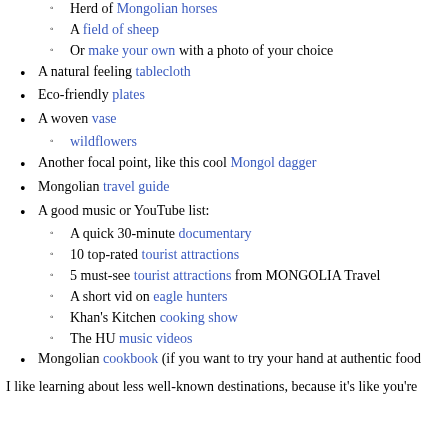A cool background (sub-items): Herd of Mongolian horses; A field of sheep; Or make your own with a photo of your choice
A natural feeling tablecloth
Eco-friendly plates
A woven vase (sub-item: wildflowers)
Another focal point, like this cool Mongol dagger
Mongolian travel guide
A good music or YouTube list: (sub-items) A quick 30-minute documentary; 10 top-rated tourist attractions; 5 must-see tourist attractions from MONGOLIA Travel; A short vid on eagle hunters; Khan's Kitchen cooking show; The HU music videos
Mongolian cookbook (if you want to try your hand at authentic food
I like learning about less well-known destinations, because it's like you're